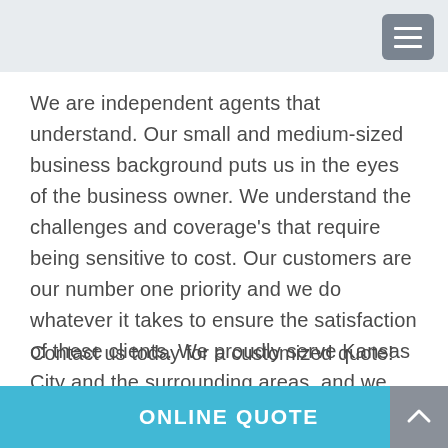We are independent agents that understand. Our small and medium-sized business background puts us in the eyes of the business owner. We understand the challenges and coverage’s that require being sensitive to cost. Our customers are our number one priority and we do whatever it takes to ensure the satisfaction of these clients. We proudly serve Kansas City and the surrounding areas, and we look forward to speaking with you.
Contact us today for a customized quote!
ONLINE QUOTE